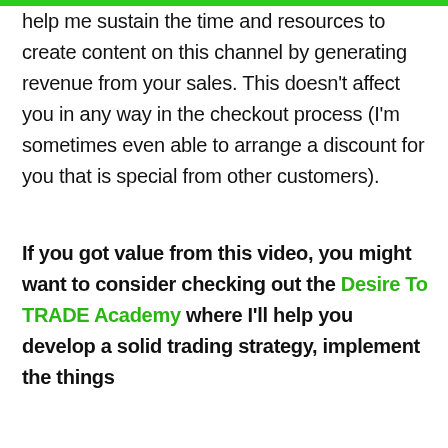help me sustain the time and resources to create content on this channel by generating revenue from your sales. This doesn't affect you in any way in the checkout process (I'm sometimes even able to arrange a discount for you that is special from other customers).
If you got value from this video, you might want to consider checking out the Desire To TRADE Academy where I'll help you develop a solid trading strategy, implement the things